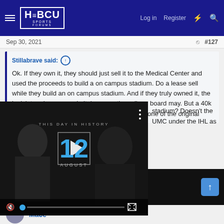HBCU Sports Forums — Log in  Register
Sep 30, 2021  #127
Stillabrave said: ↑
Ok. If they own it, they should just sell it to the Medical Center and used the proceeds to build a on campus stadium. Do a lease sell while they build an on campus stadium. And if they truly owned it, the legislature has no say in it, however the college board may. But a 40k seat stadium would fit JSU better and that was one of the original
[Figure (screenshot): Video overlay showing 'THIS DAY IN HISTORY' with large number 12 in blue and AUGUST below, with a play button in center, mute button and progress bar at bottom]
stadium? Doesn't the UMC under the IHL as
Blacknbengal
[Figure (screenshot): Ad banner: CHEERS TO 25 YEARS OF Tito's with scroll-to-top button]
Mace